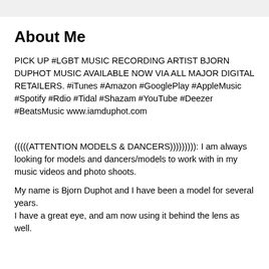About Me
PICK UP #LGBT MUSIC RECORDING ARTIST BJORN DUPHOT MUSIC AVAILABLE NOW VIA ALL MAJOR DIGITAL RETAILERS. #iTunes #Amazon #GooglePlay #AppleMusic #Spotify #Rdio #Tidal #Shazam #YouTube #Deezer #BeatsMusic www.iamduphot.com
(((((ATTENTION MODELS & DANCERS))))))))): I am always looking for models and dancers/models to work with in my music videos and photo shoots.
My name is Bjorn Duphot and I have been a model for several years.
I have a great eye, and am now using it behind the lens as well.